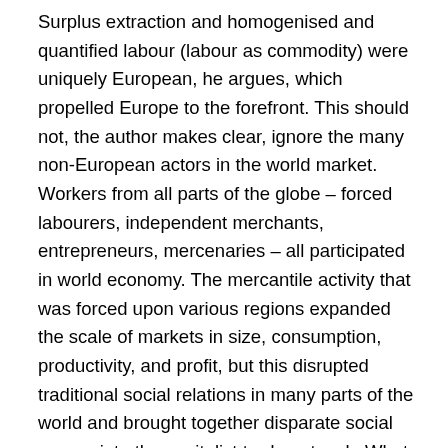Surplus extraction and homogenised and quantified labour (labour as commodity) were uniquely European, he argues, which propelled Europe to the forefront. This should not, the author makes clear, ignore the many non-European actors in the world market. Workers from all parts of the globe – forced labourers, independent merchants, entrepreneurs, mercenaries – all participated in world economy. The mercantile activity that was forced upon various regions expanded the scale of markets in size, consumption, productivity, and profit, but this disrupted traditional social relations in many parts of the world and brought together disparate social groups into the capitalist trade network. What is not focussed on entirely is how unequal relations between European traders and their local counterparts impacted imperialism – did this cause resistance, or were the locals co-opted into